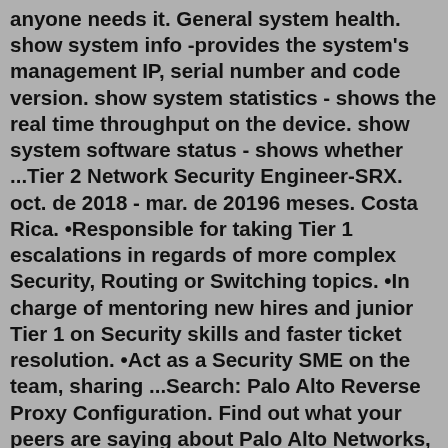anyone needs it. General system health. show system info -provides the system's management IP, serial number and code version. show system statistics - shows the real time throughput on the device. show system software status - shows whether ...Tier 2 Network Security Engineer-SRX. oct. de 2018 - mar. de 20196 meses. Costa Rica. •Responsible for taking Tier 1 escalations in regards of more complex Security, Routing or Switching topics. •In charge of mentoring new hires and junior Tier 1 on Security skills and faster ticket resolution. •Act as a Security SME on the team, sharing ...Search: Palo Alto Reverse Proxy Configuration. Find out what your peers are saying about Palo Alto Networks, FireEye, Check Point and others in Advanced As a partner of Sophos firewall, we have some clients and they are using Sophos firewall UTM and we are using it as well Palo Alto Networks® PA-5200 Series of next-generation firewall appliances is comprised of the PA-5260, the PA-5250 and ...Lab 1 - Palo Alto Firewall Initial Configuration. ... Log into your firewall and